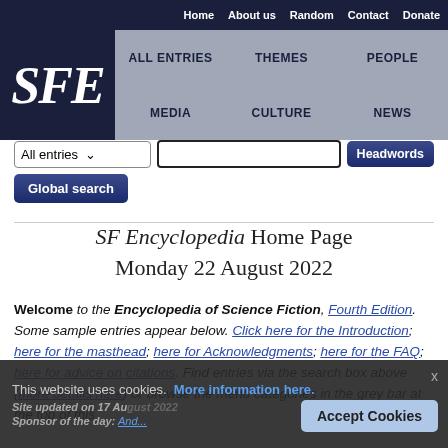Home  About us  Random  Contact  Donate
[Figure (logo): SFE logo — white italic serif letters on dark navy background]
ALL ENTRIES  THEMES  PEOPLE  MEDIA  CULTURE  NEWS
All entries [dropdown]  [search box]  Headwords  Global search
SF Encyclopedia Home Page Monday 22 August 2022
Welcome to the Encyclopedia of Science Fiction, Fourth Edition. Some sample entries appear below. Click here for the Introduction; here for the masthead; here for Acknowledgments; here for the FAQ; here for advice on citations. Find entries via the search box above (more details here) or browse the menu categories in the grey bar at the top of this page.
This website uses cookies. More information here.
Site updated on 17 August 2022
Sponsor of the day: And...